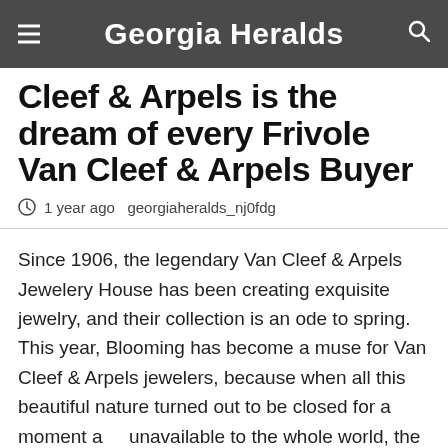Georgia Heralds
Cleef & Arpels is the dream of every Frivole Van Cleef & Arpels Buyer
1 year ago  georgiaheralds_nj0fdg
Since 1906, the legendary Van Cleef & Arpels Jewelery House has been creating exquisite jewelry, and their collection is an ode to spring. This year, Blooming has become a muse for Van Cleef & Arpels jewelers, because when all this beautiful nature turned out to be closed for a moment and unavailable to the whole world, the beauty of the awakening nature sparkled with completely new